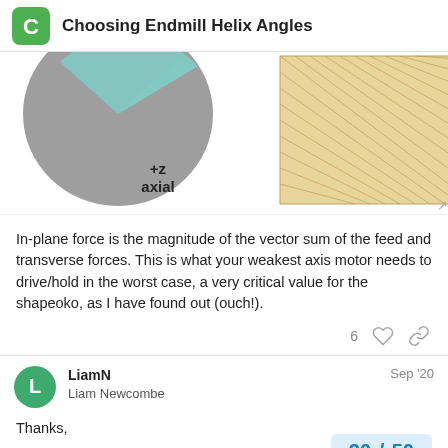Choosing Endmill Helix Angles
[Figure (illustration): Partial view of engineering diagram showing a circular milled part cross-section in gray/teal at left, and a hatched rectangular region (beige/gold diagonal hatching) at center. Labels show '+z' and 'axial' below the circular part. A resize arrow icon appears at bottom right of the hatched rectangle.]
In-plane force is the magnitude of the vector sum of the feed and transverse forces. This is what your weakest axis motor needs to drive/hold in the worst case, a very critical value for the shapeoko, as I have found out (ouch!).
6
LiamN
Liam Newcombe
Sep '20
Thanks,
That is really interesting,
20 / 50